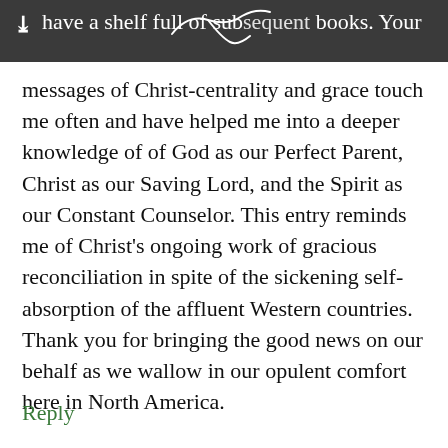have a shelf full of subsequent books. Your messages of Christ-centrality and grace touch me often and have helped me into a deeper knowledge of of God as our Perfect Parent, Christ as our Saving Lord, and the Spirit as our Constant Counselor. This entry reminds me of Christ's ongoing work of gracious reconciliation in spite of the sickening self-absorption of the affluent Western countries. Thank you for bringing the good news on our behalf as we wallow in our opulent comfort here in North America.
Reply